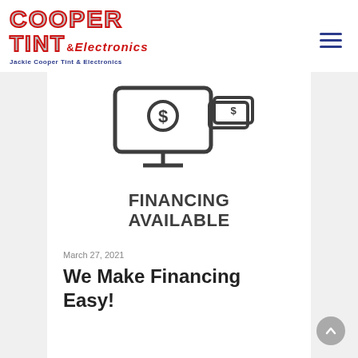Cooper Tint & Electronics — Jackie Cooper Tint & Electronics
[Figure (illustration): Line art illustration of a monitor/TV with a dollar sign and cash/bills, representing financing]
FINANCING AVAILABLE
March 27, 2021
We Make Financing Easy!